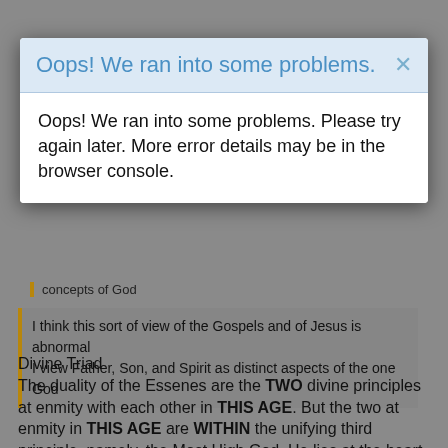[Figure (screenshot): Browser top navigation bar in blue/teal color]
concepts of God
I think this sort of view of the Gospels and of Jesus is abnormal
I view Father, Son, and Spirit as distinct aspects of the one God
Oops! We ran into some problems.
Oops! We ran into some problems. Please try again later. More error details may be in the browser console.
Divine Triad
The duality of the Essenes are the TWO divine principles at enmity with each other in THIS AGE. But the two at enmity in THIS AGE are WITHIN the unifying third principle, namely, the Most High God. He lies at the heart of all things maintaining a unity. This is the divine triad of the Essenes explicitly described in the DSS.
Trinity
Christian orthodoxy says the trinity are three persons making up